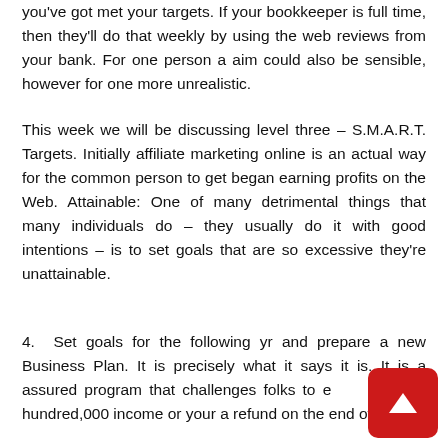you've got met your targets. If your bookkeeper is full time, then they'll do that weekly by using the web reviews from your bank. For one person a aim could also be sensible, however for one more unrealistic.
This week we will be discussing level three – S.M.A.R.T. Targets. Initially affiliate marketing online is an actual way for the common person to get began earning profits on the Web. Attainable: One of many detrimental things that many individuals do – they usually do it with good intentions – is to set goals that are so excessive they're unattainable.
4. Set goals for the following yr and prepare a new Business Plan. It is precisely what it says it is. It is a assured program that challenges folks to e a hundred,000 income or your a refund on the end of the